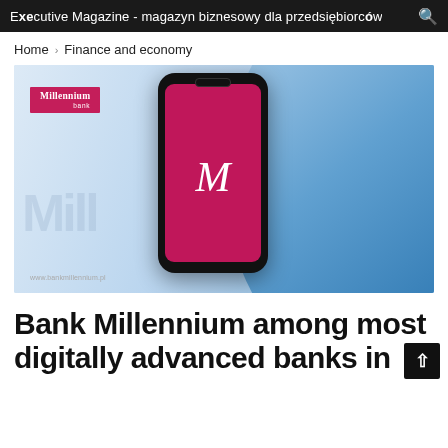Executive Magazine - magazyn biznesowy dla przedsiębiorców
Home › Finance and economy
[Figure (photo): Bank Millennium promotional image showing a hand holding a smartphone with the Millennium Bank app (magenta screen with white M logo), a smiling woman with blue-tinted hair in background, and the Millennium Bank logo in the top left corner.]
Bank Millennium among most digitally advanced banks in